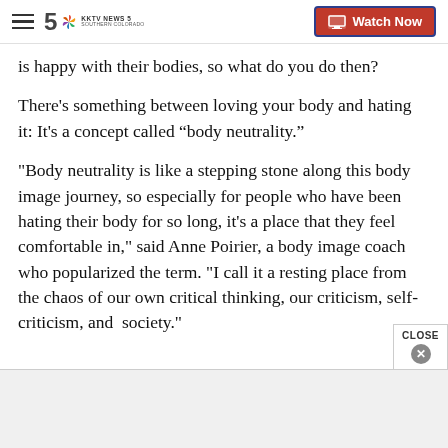KKTV News 5 Southern Colorado | Watch Now
is happy with their bodies, so what do you do then?
There’s something between loving your body and hating it: It's a concept called “body neutrality.”
"Body neutrality is like a stepping stone along this body image journey, so especially for people who have been hating their body for so long, it's a place that they feel comfortable in," said Anne Poirier, a body image coach who popularized the term. "I call it a resting place from the chaos of our own critical thinking, our criticism, self-criticism, and  society."